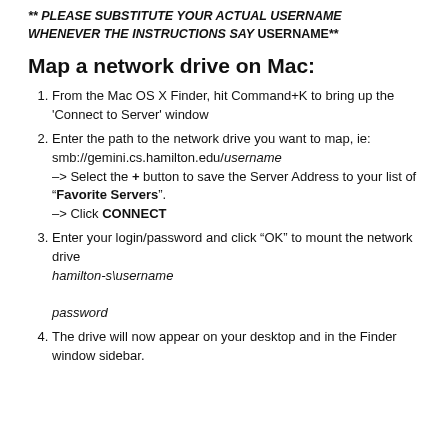** PLEASE SUBSTITUTE YOUR ACTUAL USERNAME WHENEVER THE INSTRUCTIONS SAY USERNAME**
Map a network drive on Mac:
From the Mac OS X Finder, hit Command+K to bring up the 'Connect to Server' window
Enter the path to the network drive you want to map, ie: smb://gemini.cs.hamilton.edu/username –> Select the + button to save the Server Address to your list of "Favorite Servers". –> Click CONNECT
Enter your login/password and click "OK" to mount the network drive hamilton-s\username password
The drive will now appear on your desktop and in the Finder window sidebar.